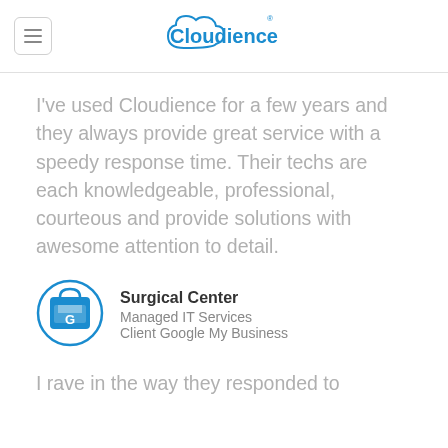Cloudience
I've used Cloudience for a few years and they always provide great service with a speedy response time. Their techs are each knowledgeable, professional, courteous and provide solutions with awesome attention to detail.
[Figure (logo): Google My Business store icon in blue circle]
Surgical Center
Managed IT Services
Client Google My Business
I rave in the way they responded to